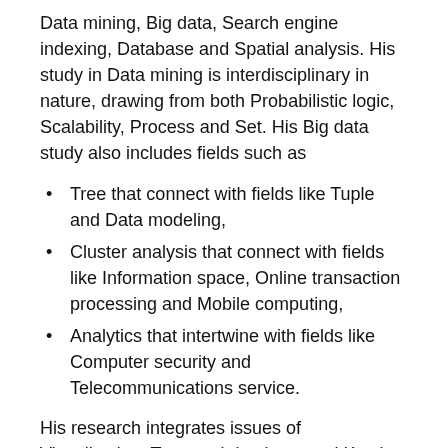Data mining, Big data, Search engine indexing, Database and Spatial analysis. His study in Data mining is interdisciplinary in nature, drawing from both Probabilistic logic, Scalability, Process and Set. His Big data study also includes fields such as
Tree that connect with fields like Tuple and Data modeling,
Cluster analysis that connect with fields like Information space, Online transaction processing and Mobile computing,
Analytics that intertwine with fields like Computer security and Telecommunications service.
His research integrates issues of Visualization, Temporal database and Key in his study of Search engine indexing. He is involved in the study of Database that focuses on SQL in